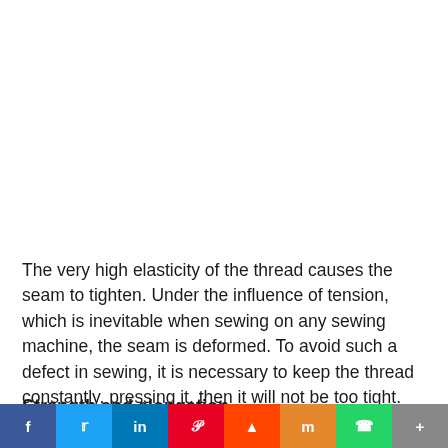The very high elasticity of the thread causes the seam to tighten. Under the influence of tension, which is inevitable when sewing on any sewing machine, the seam is deformed. To avoid such a defect in sewing, it is necessary to keep the thread constantly, pressing it, then it will not be too tight.
Strength and elongation
[Figure (infographic): Social media share bar with buttons: Facebook (f), Twitter (bird icon), LinkedIn (in), Pinterest (P), Reddit (alien icon), Mix (m), WhatsApp (phone icon), More (+)]